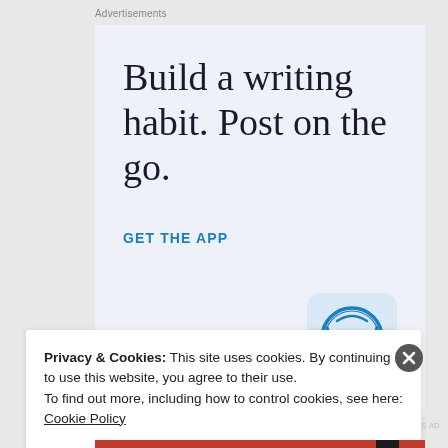Advertisements
[Figure (other): WordPress advertisement: 'Build a writing habit. Post on the go.' with GET THE APP call-to-action and WordPress logo icon on light blue background]
Privacy & Cookies: This site uses cookies. By continuing to use this website, you agree to their use.
To find out more, including how to control cookies, see here: Cookie Policy
Close and accept